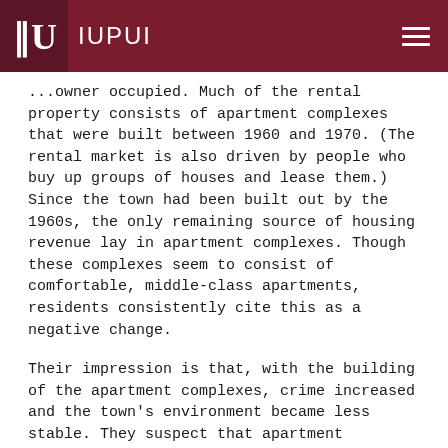IUPUI
...owner occupied. Much of the rental property consists of apartment complexes that were built between 1960 and 1970. (The rental market is also driven by people who buy up groups of houses and lease them.) Since the town had been built out by the 1960s, the only remaining source of housing revenue lay in apartment complexes. Though these complexes seem to consist of comfortable, middle-class apartments, residents consistently cite this as a negative change.
Their impression is that, with the building of the apartment complexes, crime increased and the town's environment became less stable. They suspect that apartment dwellers are not interested in the community and do not involve themselves in government. Long-time Speedway residents take pride in the fact that people care about their property and spend time on